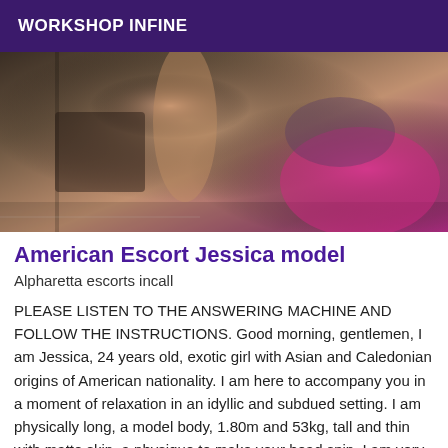WORKSHOP INFINE
[Figure (photo): A cropped photo showing people in a gym or workout setting, with skin tones and a pink garment visible.]
American Escort Jessica model
Alpharetta escorts incall
PLEASE LISTEN TO THE ANSWERING MACHINE AND FOLLOW THE INSTRUCTIONS. Good morning, gentlemen, I am Jessica, 24 years old, exotic girl with Asian and Caledonian origins of American nationality. I am here to accompany you in a moment of relaxation in an idyllic and subdued setting. I am physically long, a model body, 1.80m and 53kg, tall and thin with matte skin, a physique to make your head spin. I am very